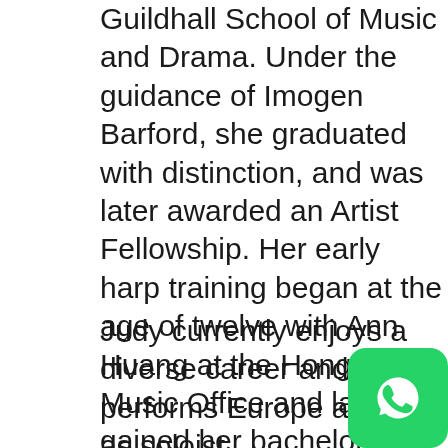Guildhall School of Music and Drama. Under the guidance of Imogen Barford, she graduated with distinction, and was later awarded an Artist Fellowship. Her early harp training began at the age of twelve with Ann Huang at the Hong Kong Music Office and later gained her bachelor in music(hons) at the Chinese University of Hong Kong with Amy Tam. She also held a visiting position at the Hong Kong Academy of Performing Arts under the guidance of Dan Yu.
Judy currently enjoys a diverse career and performs Europe and Asia as soloist, chamber, orchestral player and cross-arts collaborator. She has worked with orchestras
[Figure (logo): WhatsApp green logo button in bottom right corner]